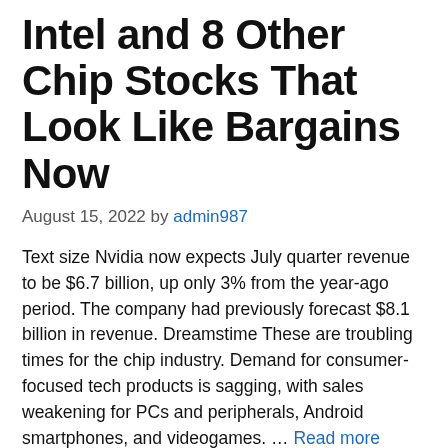Intel and 8 Other Chip Stocks That Look Like Bargains Now
August 15, 2022 by admin987
Text size Nvidia now expects July quarter revenue to be $6.7 billion, up only 3% from the year-ago period. The company had previously forecast $8.1 billion in revenue. Dreamstime These are troubling times for the chip industry. Demand for consumer-focused tech products is sagging, with sales weakening for PCs and peripherals, Android smartphones, and videogames. … Read more